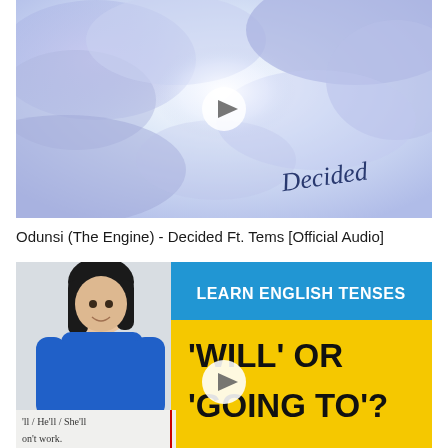[Figure (screenshot): Video thumbnail for Odunsi (The Engine) - Decided Ft. Tems [Official Audio]. Shows a dreamy sky with purple/blue clouds and the word 'Decided' written in cursive script. A white play button circle is visible in the center.]
Odunsi (The Engine) - Decided Ft. Tems [Official Audio]
[Figure (screenshot): Video thumbnail for an English grammar lesson. Shows a teacher (woman with dark hair, wearing blue) on the left. On the right is a blue banner reading 'LEARN ENGLISH TENSES' and a yellow banner reading 'WILL' OR 'GOING TO'?. A whiteboard at the bottom shows grammar examples. A white play button is visible in the center.]